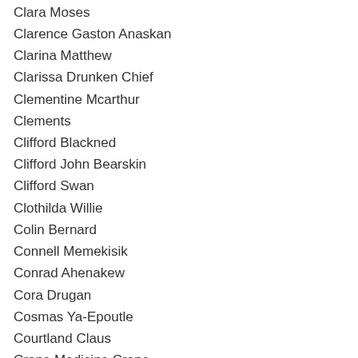Clara Moses
Clarence Gaston Anaskan
Clarina Matthew
Clarissa Drunken Chief
Clementine Mcarthur
Clements
Clifford Blackned
Clifford John Bearskin
Clifford Swan
Clothilda Willie
Colin Bernard
Connell Memekisik
Conrad Ahenakew
Cora Drugan
Cosmas Ya-Epoutle
Courtland Claus
Crane Medicine Crane
Cyprien Gaucher
Cyprien Janvier Watchapez